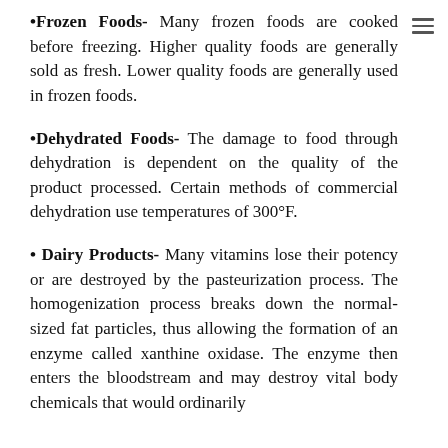•Frozen Foods- Many frozen foods are cooked before freezing. Higher quality foods are generally sold as fresh. Lower quality foods are generally used in frozen foods.
•Dehydrated Foods- The damage to food through dehydration is dependent on the quality of the product processed. Certain methods of commercial dehydration use temperatures of 300°F.
• Dairy Products- Many vitamins lose their potency or are destroyed by the pasteurization process. The homogenization process breaks down the normal-sized fat particles, thus allowing the formation of an enzyme called xanthine oxidase. The enzyme then enters the bloodstream and may destroy vital body chemicals that would ordinarily provide protection for the...